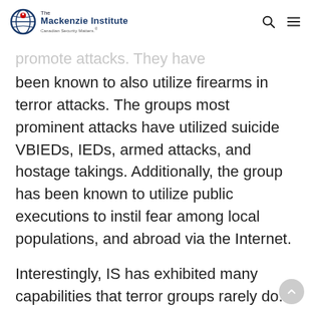The Mackenzie Institute — Canadian Security Matters.
...promote attacks. They have been known to also utilize firearms in terror attacks. The groups most prominent attacks have utilized suicide VBIEDs, IEDs, armed attacks, and hostage takings. Additionally, the group has been known to utilize public executions to instil fear among local populations, and abroad via the Internet.
Interestingly, IS has exhibited many capabilities that terror groups rarely do.